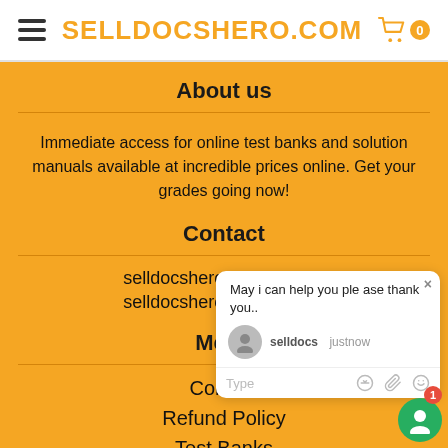SELLDOCSHERO.COM
About us
Immediate access for online test banks and solution manuals available at incredible prices online. Get your grades going now!
Contact
selldocshero@gmail.com
selldocshero@gmail.com
Menu
Contact
Refund Policy
Test Banks
[Figure (screenshot): Chat popup widget with message 'May i can help you ple ase thank you..' from 'selldocs' and a typing area with icons]